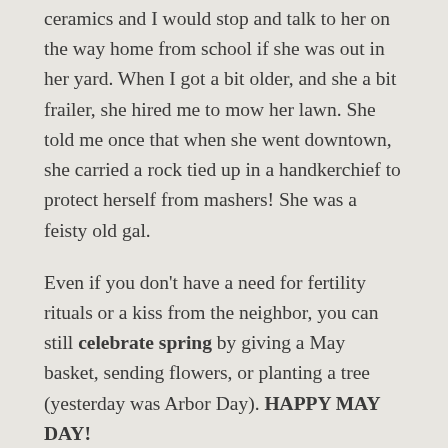ceramics and I would stop and talk to her on the way home from school if she was out in her yard. When I got a bit older, and she a bit frailer, she hired me to mow her lawn. She told me once that when she went downtown, she carried a rock tied up in a handkerchief to protect herself from mashers! She was a feisty old gal.
Even if you don't have a need for fertility rituals or a kiss from the neighbor, you can still celebrate spring by giving a May basket, sending flowers, or planting a tree (yesterday was Arbor Day). HAPPY MAY DAY!
Share this: